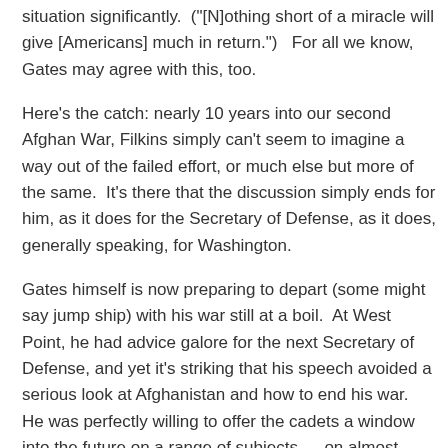situation significantly.  ("[N]othing short of a miracle will give [Americans] much in return.")   For all we know, Gates may agree with this, too.
Here's the catch: nearly 10 years into our second Afghan War, Filkins simply can't seem to imagine a way out of the failed effort, or much else but more of the same.  It's there that the discussion simply ends for him, as it does for the Secretary of Defense, as it does, generally speaking, for Washington.
Gates himself is now preparing to depart (some might say jump ship) with his war still at a boil.  At West Point, he had advice galore for the next Secretary of Defense, and yet it's striking that his speech avoided a serious look at Afghanistan and how to end his war.  He was perfectly willing to offer the cadets a window into the future on a range of subjects — on almost anything, in fact, but that war.
When it came to his primary responsibility, however, all